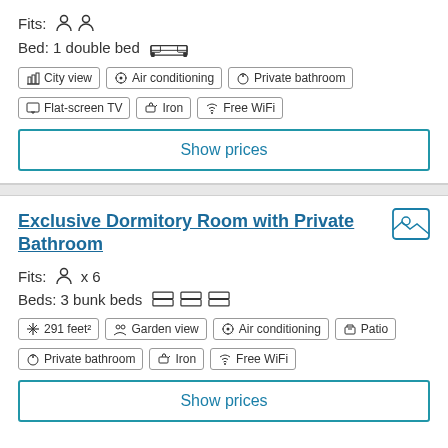Fits: (2 person icons)
Bed: 1 double bed (bed icon)
City view | Air conditioning | Private bathroom | Flat-screen TV | Iron | Free WiFi
Show prices
Exclusive Dormitory Room with Private Bathroom
Fits: (person icon) x 6
Beds: 3 bunk beds (bunk bed icons)
291 feet² | Garden view | Air conditioning | Patio | Private bathroom | Iron | Free WiFi
Show prices